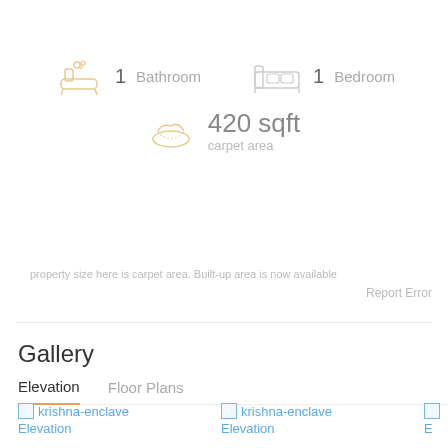[Figure (infographic): Property amenities: 1 Bathroom icon, 1 Bedroom icon, 420 sqft carpet area icon]
1 Bathroom
1 Bedroom
420 sqft
carpet area
property size here is carpet area. Built-up area is now available
Report Error
Gallery
Elevation
Floor Plans
[Figure (photo): krishna-enclave Elevation building image 1]
[Figure (photo): krishna-enclave Elevation building image 2]
[Figure (photo): krishna-enclave Elevation building image 3 (partially visible)]